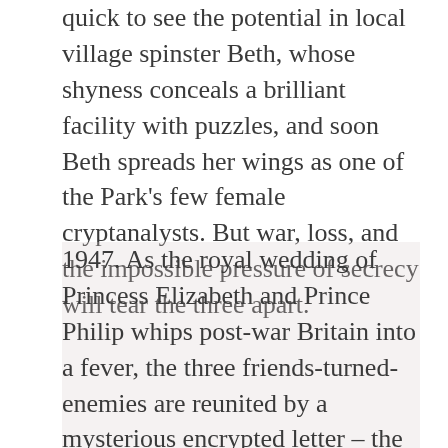quick to see the potential in local village spinster Beth, whose shyness conceals a brilliant facility with puzzles, and soon Beth spreads her wings as one of the Park's few female cryptanalysts. But war, loss, and the impossible pressure of secrecy will tear the three apart.
1947. As the royal wedding of Princess Elizabeth and Prince Philip whips post-war Britain into a fever, the three friends-turned-enemies are reunited by a mysterious encrypted letter – the key to which lies buried in the long-ago betrayal that destroyed their friendship and left one of them confined to an asylum. A mysterious traitor has emerged from the shadows of their Bletchley Park past, and now Osla, Mab, and Beth must resurrect their old alliance and crack one last code together. But each petal they